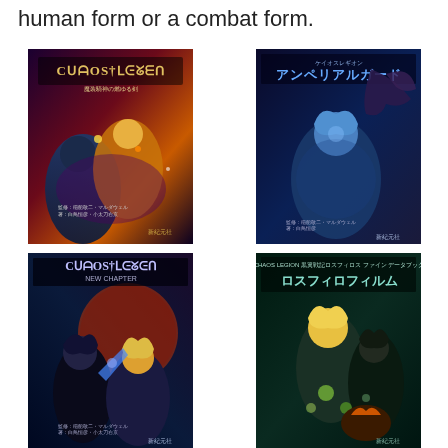human form or a combat form.
[Figure (illustration): Chaos Legion manga/light novel volume 1 cover featuring anime characters in action, dark fantasy style with Japanese text title]
[Figure (illustration): Chaos Legion related volume cover featuring blue-haired character and dark winged creature, Japanese text]
[Figure (illustration): Chaos Legion manga volume cover featuring dark-haired characters in action pose with glowing effects]
[Figure (illustration): Chaos Legion data book cover featuring blonde female character and other characters with glowing spheres, Japanese title text]